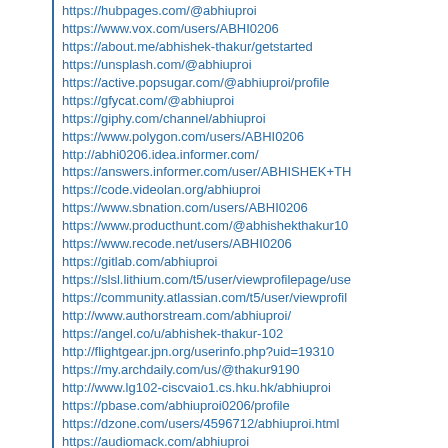https://hubpages.com/@abhiuproi
https://www.vox.com/users/ABHI0206
https://about.me/abhishek-thakur/getstarted
https://unsplash.com/@abhiuproi
https://active.popsugar.com/@abhiuproi/profile
https://gfycat.com/@abhiuproi
https://giphy.com/channel/abhiuproi
https://www.polygon.com/users/ABHI0206
http://abhi0206.idea.informer.com/
https://answers.informer.com/user/ABHISHEK+TH
https://code.videolan.org/abhiuproi
https://www.sbnation.com/users/ABHI0206
https://www.producthunt.com/@abhishekthakur10
https://www.recode.net/users/ABHI0206
https://gitlab.com/abhiuproi
https://slsl.lithium.com/t5/user/viewprofilepage/use
https://community.atlassian.com/t5/user/viewprofil
http://www.authorstream.com/abhiuproi/
https://angel.co/u/abhishek-thakur-102
http://flightgear.jpn.org/userinfo.php?uid=19310
https://my.archdaily.com/us/@thakur9190
http://www.lg102-ciscvaio1.cs.hku.hk/abhiuproi
https://pbase.com/abhiuproi0206/profile
https://dzone.com/users/4596712/abhiuproi.html
https://audiomack.com/abhiuproi